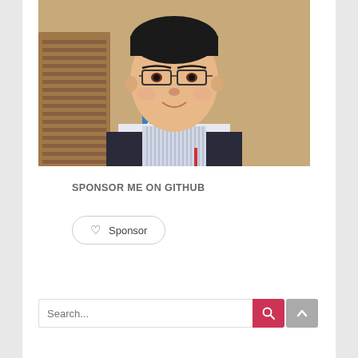[Figure (photo): Portrait photo of a young Asian man wearing glasses, a light blue plaid collared shirt, and a dark vest/jacket. A blue restroom sign is visible in the background on a wooden-paneled wall.]
SPONSOR ME ON GITHUB
[Figure (other): Sponsor button with heart icon and text 'Sponsor', rounded rectangle border]
[Figure (other): Search bar with placeholder text 'Search...' and a red search button, plus a grey scroll-to-top button]